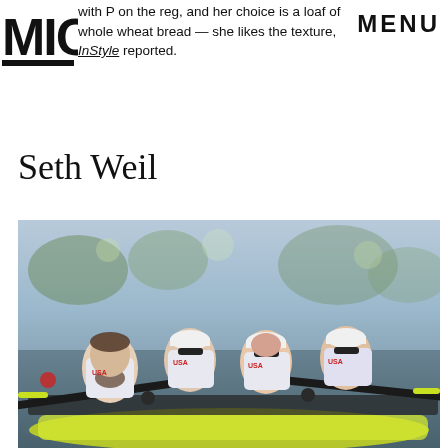MIC logo and MENU
whole wheat bread — she likes the texture, InStyle reported.
Seth Weil
[Figure (photo): Four male USA rowing team athletes rowing in a racing shell on water, wearing white USA uniforms, captured during competition.]